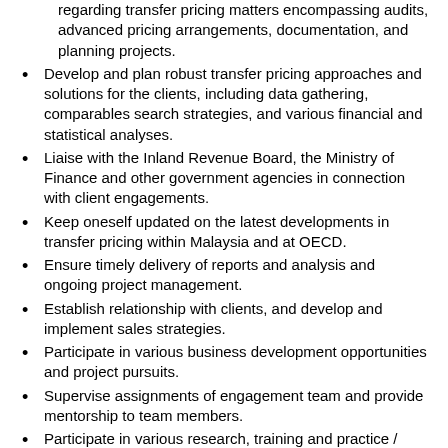regarding transfer pricing matters encompassing audits, advanced pricing arrangements, documentation, and planning projects.
Develop and plan robust transfer pricing approaches and solutions for the clients, including data gathering, comparables search strategies, and various financial and statistical analyses.
Liaise with the Inland Revenue Board, the Ministry of Finance and other government agencies in connection with client engagements.
Keep oneself updated on the latest developments in transfer pricing within Malaysia and at OECD.
Ensure timely delivery of reports and analysis and ongoing project management.
Establish relationship with clients, and develop and implement sales strategies.
Participate in various business development opportunities and project pursuits.
Supervise assignments of engagement team and provide mentorship to team members.
Participate in various research, training and practice / professional development initiatives.